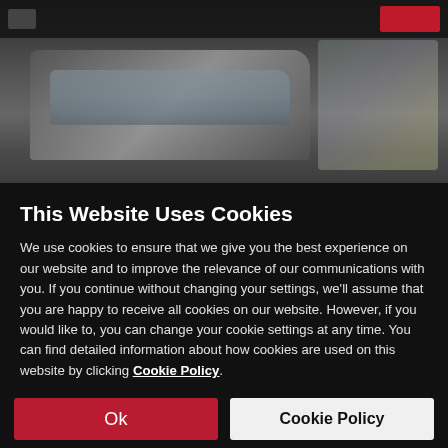[Figure (screenshot): Blurred automotive website background showing a dark navigation bar at top, a blurred car image in the center, and a red button in the top right corner.]
This Website Uses Cookies
We use cookies to ensure that we give you the best experience on our website and to improve the relevance of our communications with you. If you continue without changing your settings, we'll assume that you are happy to receive all cookies on our website. However, if you would like to, you can change your cookie settings at any time. You can find detailed information about how cookies are used on this website by clicking Cookie Policy.